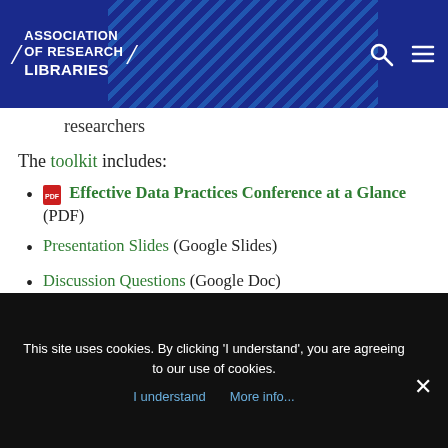ASSOCIATION OF RESEARCH LIBRARIES
researchers
The toolkit includes:
Effective Data Practices Conference at a Glance (PDF)
Presentation Slides (Google Slides)
Discussion Questions (Google Doc)
Reading List (Google Doc)
Implementing Effective Data Practices report
This site uses cookies. By clicking 'I understand', you are agreeing to our use of cookies.